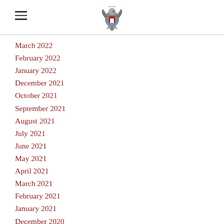[Figure (logo): US Government eagle seal emblem at top center, with hamburger menu icon at top left]
March 2022
February 2022
January 2022
December 2021
October 2021
September 2021
August 2021
July 2021
June 2021
May 2021
April 2021
March 2021
February 2021
January 2021
December 2020
November 2020
September 2020